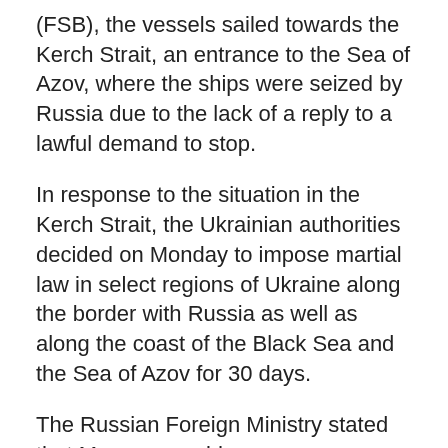(FSB), the vessels sailed towards the Kerch Strait, an entrance to the Sea of Azov, where the ships were seized by Russia due to the lack of a reply to a lawful demand to stop.
In response to the situation in the Kerch Strait, the Ukrainian authorities decided on Monday to impose martial law in select regions of Ukraine along the border with Russia as well as along the coast of the Black Sea and the Sea of Azov for 30 days.
The Russian Foreign Ministry stated that Moscow would suppress any attempts to challenge its sovereignty and security. The ministry added that the actions conducted by Kiev in coordination with the United States and the European Union and aimed at provocations in the Black Sea and the Sea of Azov, may lead to serious consequences. Similarly, Kremlin spokesman Dmitry Peskov said that the actions were provocations.